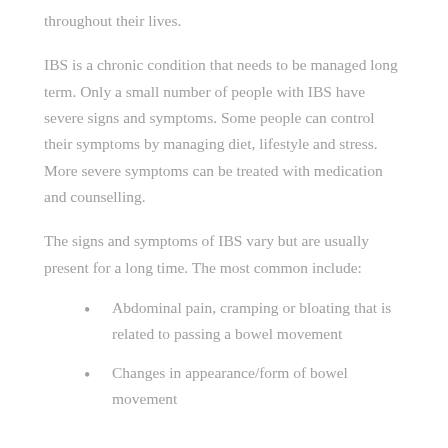throughout their lives.
IBS is a chronic condition that needs to be managed long term. Only a small number of people with IBS have severe signs and symptoms. Some people can control their symptoms by managing diet, lifestyle and stress. More severe symptoms can be treated with medication and counselling.
The signs and symptoms of IBS vary but are usually present for a long time. The most common include:
Abdominal pain, cramping or bloating that is related to passing a bowel movement
Changes in appearance/form of bowel movement